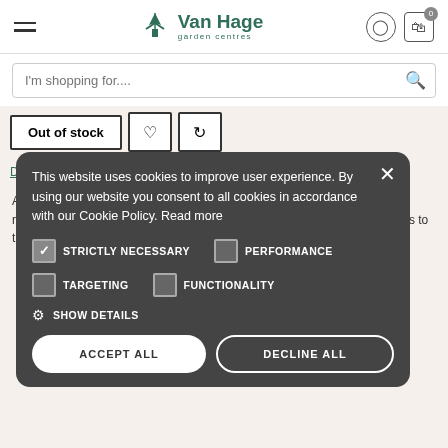[Figure (screenshot): Van Hage garden centres website header with hamburger menu, logo with windmill icon, user icon, and cart icon with badge showing 0]
[Figure (screenshot): Search bar with placeholder text 'I'm shopping for...' and search icon]
[Figure (screenshot): Product page buttons: 'Out of stock' button, heart/wishlist icon button, refresh/compare icon button]
[Figure (screenshot): Product page tabs: Description, Why buy from us, Delivery & Returns]
Adding a delicate hint of sweet apple to a fish fillet will bring a light and refreshing feel to your plate. Experimenting with apple-flavoured wood chips to the recipe makes barbecues even more intriguing and delicious.
This website uses cookies to improve user experience. By using our website you consent to all cookies in accordance with our Cookie Policy. Read more
STRICTLY NECESSARY
PERFORMANCE
TARGETING
FUNCTIONALITY
SHOW DETAILS
ACCEPT ALL
DECLINE ALL